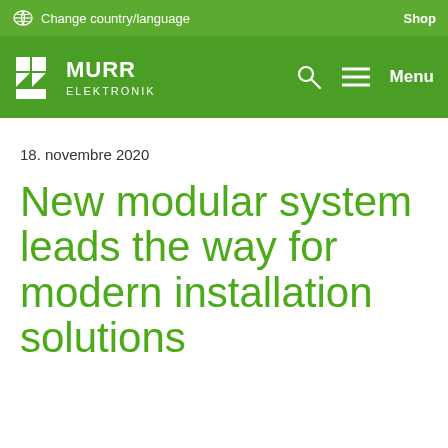Change country/language   Shop
[Figure (logo): Murr Elektronik logo in white on green header bar, with search icon, hamburger menu icon and Menu text]
18. novembre 2020
New modular system leads the way for modern installation solutions